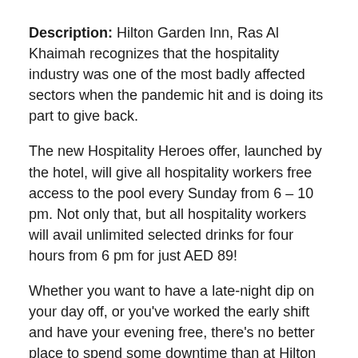Description: Hilton Garden Inn, Ras Al Khaimah recognizes that the hospitality industry was one of the most badly affected sectors when the pandemic hit and is doing its part to give back.
The new Hospitality Heroes offer, launched by the hotel, will give all hospitality workers free access to the pool every Sunday from 6 – 10 pm. Not only that, but all hospitality workers will avail unlimited selected drinks for four hours from 6 pm for just AED 89!
Whether you want to have a late-night dip on your day off, or you've worked the early shift and have your evening free, there's no better place to spend some downtime than at Hilton Garden Inn, Ras Al Khaimah!
LADIES CHILLOUT NIGHTS